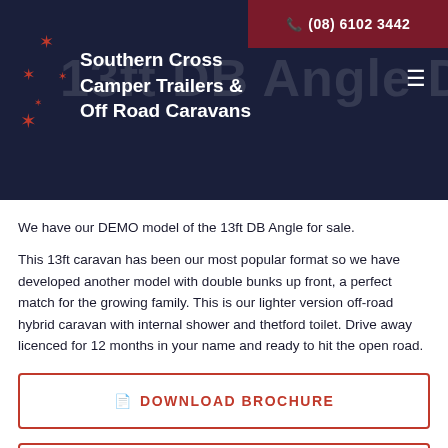Southern Cross Camper Trailers & Off Road Caravans | (08) 6102 3442
We have our DEMO model of the 13ft DB Angle for sale.
This 13ft caravan has been our most popular format so we have developed another model with double bunks up front, a perfect match for the growing family. This is our lighter version off-road hybrid caravan with internal shower and thetford toilet. Drive away licenced for 12 months in your name and ready to hit the open road.
DOWNLOAD BROCHURE
ENQUIRE TODAY